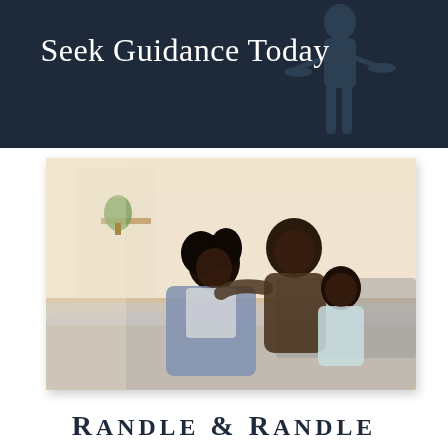Seek Guidance Today
[Figure (photo): A happy Black family — a man, woman, and young girl — sitting together on a couch, smiling and laughing in a bright living room setting.]
RANDLE & RANDLE